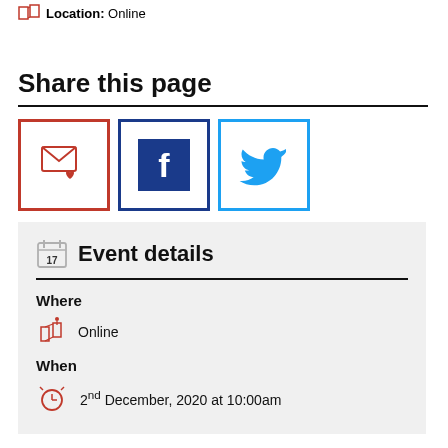Location: Online
Share this page
[Figure (infographic): Three social share buttons: Email (red border with envelope/heart icon), Facebook (dark blue border with Facebook 'f' icon), Twitter (cyan border with Twitter bird icon)]
Event details
Where
Online
When
2nd December, 2020 at 10:00am